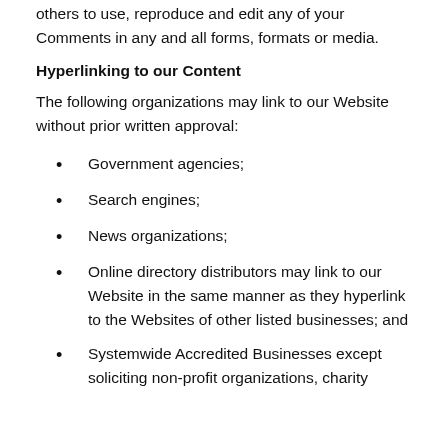others to use, reproduce and edit any of your Comments in any and all forms, formats or media.
Hyperlinking to our Content
The following organizations may link to our Website without prior written approval:
Government agencies;
Search engines;
News organizations;
Online directory distributors may link to our Website in the same manner as they hyperlink to the Websites of other listed businesses; and
Systemwide Accredited Businesses except soliciting non-profit organizations, charity